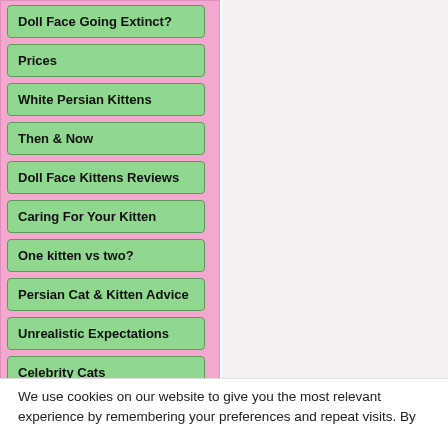Doll Face Going Extinct?
Prices
White Persian Kittens
Then & Now
Doll Face Kittens Reviews
Caring For Your Kitten
One kitten vs two?
Persian Cat & Kitten Advice
Unrealistic Expectations
Celebrity Cats
We use cookies on our website to give you the most relevant experience by remembering your preferences and repeat visits. By